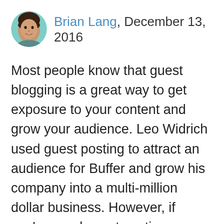[Figure (photo): Circular avatar photo of a person (Brian Lang) with teal/mint green background]
Brian Lang, December 13, 2016
Most people know that guest blogging is a great way to get exposure to your content and grow your audience. Leo Widrich used guest posting to attract an audience for Buffer and grow his company into a multi-million dollar business. However, if you've used guest posting as a